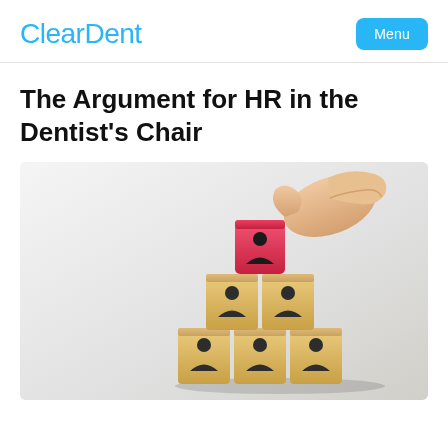ClearDent
The Argument for HR in the Dentist's Chair
[Figure (photo): A hand placing a red wooden block with a person icon on top of a pyramid of wooden blocks each stamped with a person icon, representing HR organizational hierarchy.]